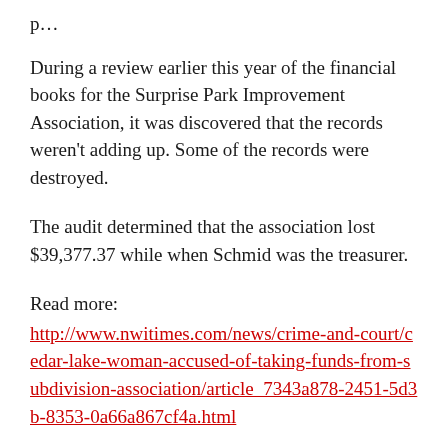During a review earlier this year of the financial books for the Surprise Park Improvement Association, it was discovered that the records weren't adding up. Some of the records were destroyed.
The audit determined that the association lost $39,377.37 while when Schmid was the treasurer.
Read more: http://www.nwitimes.com/news/crime-and-court/cedar-lake-woman-accused-of-taking-funds-from-subdivision-association/article_7343a878-2451-5d3b-8353-0a66a867cf4a.html